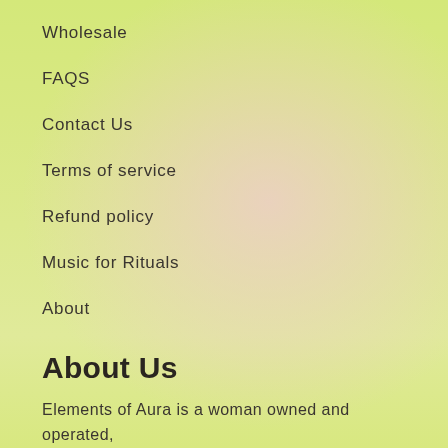Wholesale
FAQS
Contact Us
Terms of service
Refund policy
Music for Rituals
About
About Us
Elements of Aura is a woman owned and operated, Philadelphia based brand, alchemizing today's